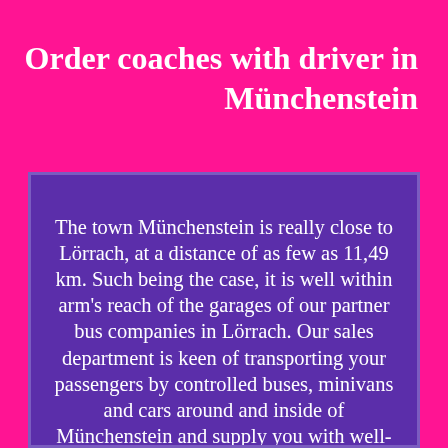Order coaches with driver in Münchenstein
The town Münchenstein is really close to Lörrach, at a distance of as few as 11,49 km. Such being the case, it is well within arm's reach of the garages of our partner bus companies in Lörrach. Our sales department is keen of transporting your passengers by controlled buses, minivans and cars around and inside of Münchenstein and supply you with well-kept vehicles for any type of transportation in its neighborhood. Whenever you order just a quick city sightseeing circuit in Münchenstein, or a long tourist excursion to the numerous admirable places of